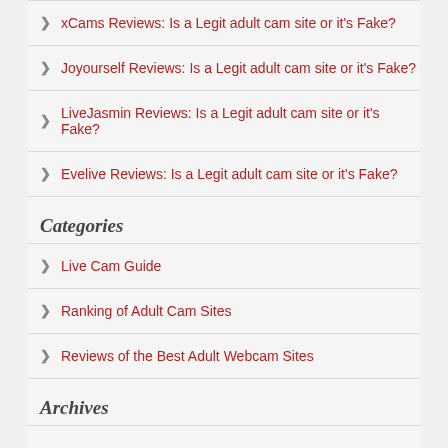xCams Reviews: Is a Legit adult cam site or it's Fake?
Joyourself Reviews: Is a Legit adult cam site or it's Fake?
LiveJasmin Reviews: Is a Legit adult cam site or it's Fake?
Evelive Reviews: Is a Legit adult cam site or it's Fake?
Categories
Live Cam Guide
Ranking of Adult Cam Sites
Reviews of the Best Adult Webcam Sites
Archives